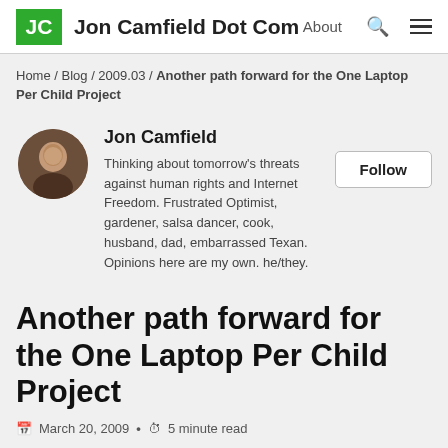Jon Camfield Dot Com — About
Home / Blog / 2009.03 / Another path forward for the One Laptop Per Child Project
Jon Camfield
Thinking about tomorrow’s threats against human rights and Internet Freedom. Frustrated Optimist, gardener, salsa dancer, cook, husband, dad, embarrassed Texan. Opinions here are my own. he/they.
Another path forward for the One Laptop Per Child Project
March 20, 2009 • 5 minute read